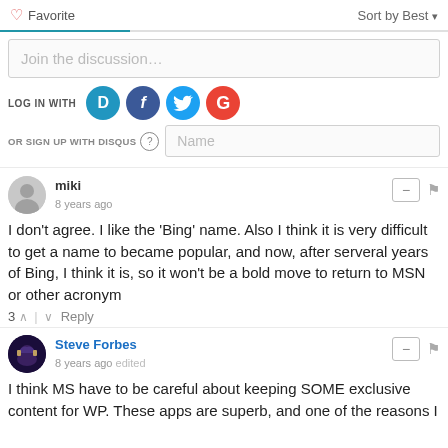♡ Favorite    Sort by Best ▾
Join the discussion…
LOG IN WITH
OR SIGN UP WITH DISQUS ?
Name
miki
8 years ago
I don't agree. I like the 'Bing' name. Also I think it is very difficult to get a name to became popular, and now, after serveral years of Bing, I think it is, so it won't be a bold move to return to MSN or other acronym
3 ^ | v Reply
Steve Forbes
8 years ago edited
I think MS have to be careful about keeping SOME exclusive content for WP. These apps are superb, and one of the reasons I